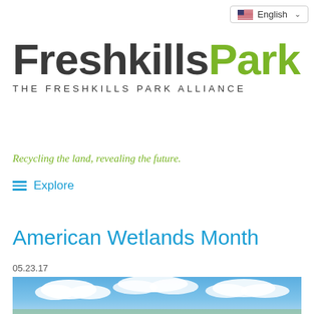English
FreshkillsPark
THE FRESHKILLS PARK ALLIANCE
Recycling the land, revealing the future.
Explore
American Wetlands Month
05.23.17
[Figure (photo): Blue sky with white clouds, partial view of wetlands landscape at the bottom]